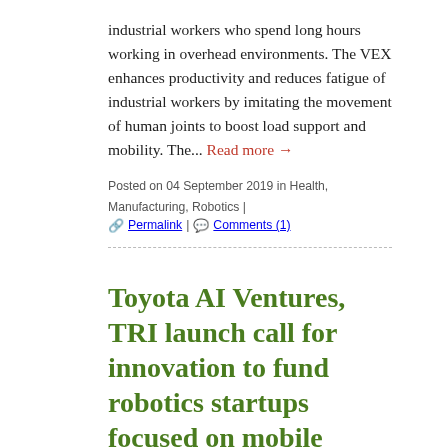industrial workers who spend long hours working in overhead environments. The VEX enhances productivity and reduces fatigue of industrial workers by imitating the movement of human joints to boost load support and mobility. The... Read more →
Posted on 04 September 2019 in Health, Manufacturing, Robotics | 🔗 Permalink | 💬 Comments (1)
Toyota AI Ventures, TRI launch call for innovation to fund robotics startups focused on mobile manipulation
11 July 2018
Silicon Valley-based venture capital firm Toyota AI